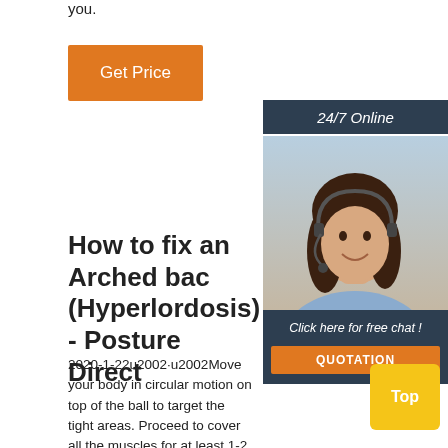you.
Get Price
[Figure (photo): Customer service representative woman with headset, smiling, with '24/7 Online' label and 'Click here for free chat!' and 'QUOTATION' button overlay]
How to fix an Arched back (Hyperlordosis) - Posture Direct
2020-1-22u2002·u2002Move your body in circular motion on top of the ball to target the tight areas. Proceed to cover all the muscles for at least 1-2 minutes each. 2. ... and this had led to many other problems such as lower back pain, neck pain, upper back pain and now I feel that it's affecting my hips and ribs.